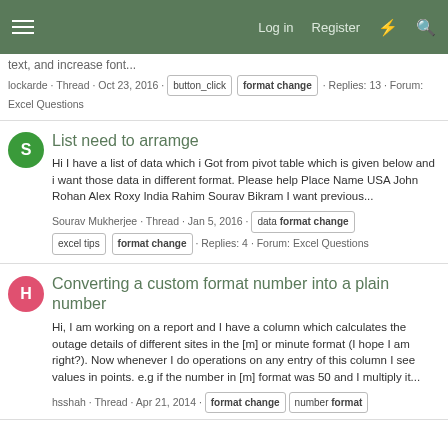Log in  Register
text, and increase font...
lockarde · Thread · Oct 23, 2016 · button_click format change · Replies: 13 · Forum: Excel Questions
List need to arramge
Hi I have a list of data which i Got from pivot table which is given below and i want those data in different format. Please help Place Name USA John Rohan Alex Roxy India Rahim Sourav Bikram I want previous...
Sourav Mukherjee · Thread · Jan 5, 2016 · data format change · excel tips · format change · Replies: 4 · Forum: Excel Questions
Converting a custom format number into a plain number
Hi, I am working on a report and I have a column which calculates the outage details of different sites in the [m] or minute format (I hope I am right?). Now whenever I do operations on any entry of this column I see values in points. e.g if the number in [m] format was 50 and I multiply it...
hsshah · Thread · Apr 21, 2014 · format change · number format